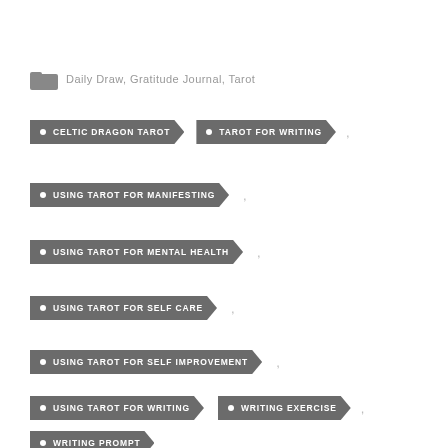Daily Draw, Gratitude Journal, Tarot
CELTIC DRAGON TAROT
TAROT FOR WRITING
USING TAROT FOR MANIFESTING
USING TAROT FOR MENTAL HEALTH
USING TAROT FOR SELF CARE
USING TAROT FOR SELF IMPROVEMENT
USING TAROT FOR WRITING
WRITING EXERCISE
WRITING PROMPT